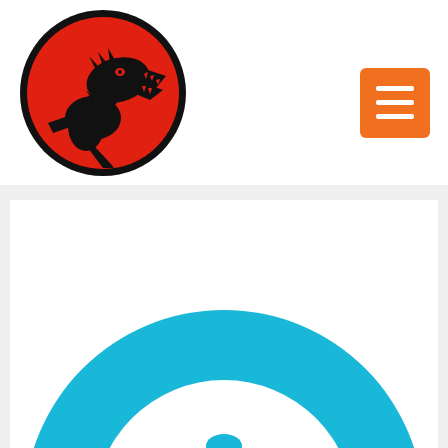[Figure (logo): Jurassic Park logo: black T-Rex silhouette on red circle with black border]
[Figure (logo): Orange square button with three white horizontal lines (hamburger menu icon)]
[Figure (illustration): Partial view of a thick cyan/teal circular ring shape, cut off at the bottom of the page, with a small teal element visible at the very bottom center]